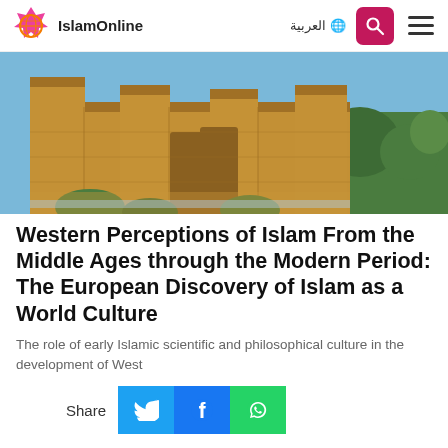IslamOnline | العربية
[Figure (photo): Exterior view of a historic Islamic fortress or castle with tall cylindrical towers made of sandstone brick, surrounded by green trees and bushes under a blue sky. The architecture features characteristic Islamic medieval design.]
Western Perceptions of Islam From the Middle Ages through the Modern Period: The European Discovery of Islam as a World Culture
The role of early Islamic scientific and philosophical culture in the development of West
Share